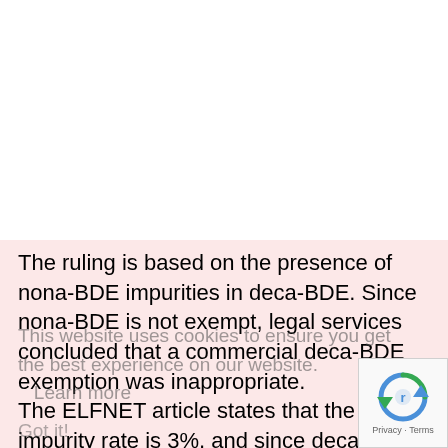The ruling is based on the presence of nona-BDE impurities in deca-BDE. Since nona-BDE is not exempt, legal services concluded that a commercial deca-BDE exemption was inappropriate.
The ELFNET article states that the impurity rate is 3%, and since deca-BDE is used at rates of 10% to 20% in plastics, the resulting concentration of nona-BDE will exceed the 0.1% threshold for